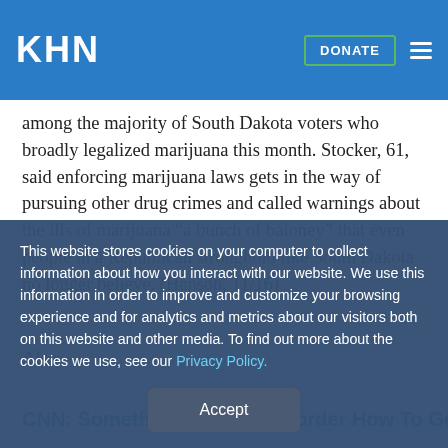KHN | DONATE
among the majority of South Dakota voters who broadly legalized marijuana this month. Stocker, 61, said enforcing marijuana laws gets in the way of pursuing other drug crimes and called warnings about the ills of marijuana “a bunch of baloney” that even people in a Republican stronghold like South Dakota no longer believe. (Hanson, 11/16)
Also —
CNN: Something difficult Disorder How To Get...
This website stores cookies on your computer to collect information about how you interact with our website. We use this information in order to improve and customize your browsing experience and for analytics and metrics about our visitors both on this website and other media. To find out more about the cookies we use, see our Privacy Policy.